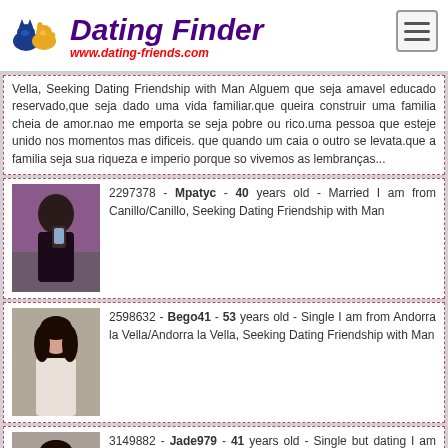Dating Finder - www.dating-friends.com
Vella, Seeking Dating Friendship with Man Alguem que seja amavel educado reservado,que seja dado uma vida familiar.que queira construir uma familia cheia de amor.nao me emporta se seja pobre ou rico.uma pessoa que esteje unido nos momentos mas dificeis. que quando um caia o outro se levata.que a familia seja sua riqueza e imperio porque so vivemos as lembranças...
2297378 - Mpatyc - 40 years old - Married I am from Canillo/Canillo, Seeking Dating Friendship with Man
2598632 - Bego41 - 53 years old - Single I am from Andorra la Vella/Andorra la Vella, Seeking Dating Friendship with Man
3149882 - Jade979 - 41 years old - Single but dating I am from Andorra la Vella/Andorra la Vella, Seeking Dating Friendship with Man